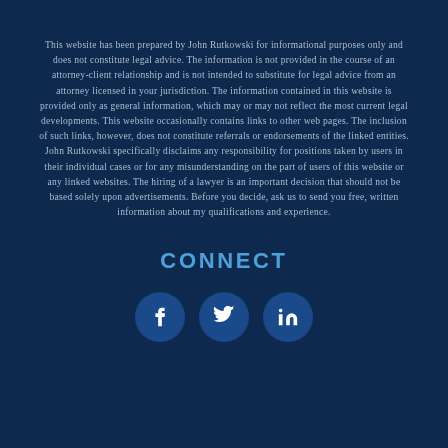This website has been prepared by John Rutkowski for informational purposes only and does not constitute legal advice. The information is not provided in the course of an attorney-client relationship and is not intended to substitute for legal advice from an attorney licensed in your jurisdiction. The information contained in this website is provided only as general information, which may or may not reflect the most current legal developments. This website occasionally contains links to other web pages. The inclusion of such links, however, does not constitute referrals or endorsements of the linked entities. John Rutkowski specifically disclaims any responsibility for positions taken by users in their individual cases or for any misunderstanding on the part of users of this website or any linked websites. The hiring of a lawyer is an important decision that should not be based solely upon advertisements. Before you decide, ask us to send you free, written information about my qualifications and experience.
CONNECT
[Figure (infographic): Three social media icon circles: Facebook (f), Twitter (bird), LinkedIn (in)]